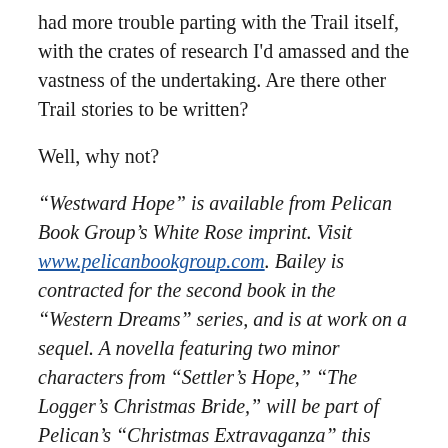had more trouble parting with the Trail itself, with the crates of research I'd amassed and the vastness of the undertaking. Are there other Trail stories to be written?
Well, why not?
“Westward Hope” is available from Pelican Book Group’s White Rose imprint. Visit www.pelicanbookgroup.com. Bailey is contracted for the second book in the “Western Dreams” series, and is at work on a sequel. A novella featuring two minor characters from “Settler’s Hope,” “The Logger’s Christmas Bride,” will be part of Pelican’s “Christmas Extravaganza” this holiday season.